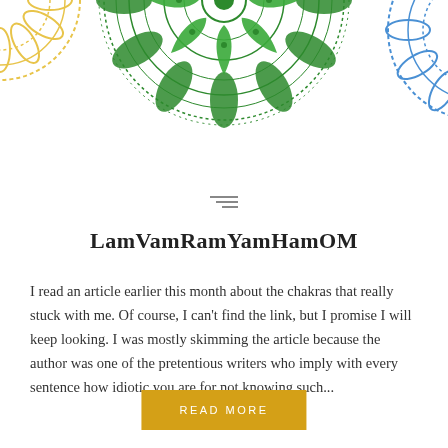[Figure (illustration): Decorative mandala and partial mandala illustrations at the top of the page. A large green mandala in the center-top, a partial yellow mandala on the left, and a partial blue mandala on the right.]
[Figure (other): Hamburger menu icon with three horizontal lines of varying width]
LamVamRamYamHamOM
I read an article earlier this month about the chakras that really stuck with me. Of course, I can't find the link, but I promise I will keep looking. I was mostly skimming the article because the author was one of the pretentious writers who imply with every sentence how idiotic you are for not knowing such...
READ MORE